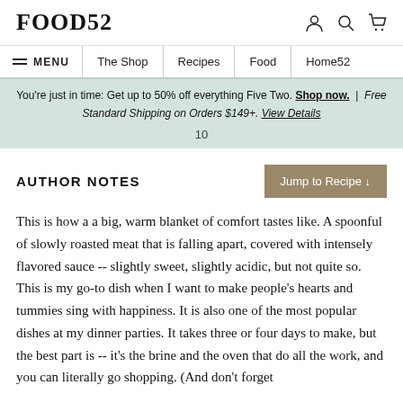FOOD52
MENU  The Shop  Recipes  Food  Home52
You're just in time: Get up to 50% off everything Five Two. Shop now. | Free Standard Shipping on Orders $149+. View Details
10
AUTHOR NOTES
Jump to Recipe ↓
This is how a a big, warm blanket of comfort tastes like. A spoonful of slowly roasted meat that is falling apart, covered with intensely flavored sauce -- slightly sweet, slightly acidic, but not quite so. This is my go-to dish when I want to make people's hearts and tummies sing with happiness. It is also one of the most popular dishes at my dinner parties. It takes three or four days to make, but the best part is -- it's the brine and the oven that do all the work, and you can literally go shopping. (And don't forget